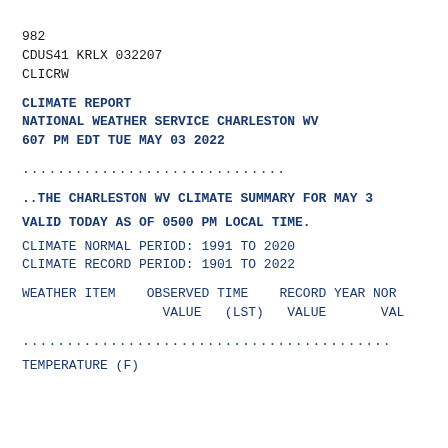982
CDUS41 KRLX 032207
CLICRW
CLIMATE REPORT
NATIONAL WEATHER SERVICE CHARLESTON WV
607 PM EDT TUE MAY 03 2022
..............................
..THE CHARLESTON WV CLIMATE SUMMARY FOR MAY 3
VALID TODAY AS OF 0500 PM LOCAL TIME.
CLIMATE NORMAL PERIOD: 1991 TO 2020
CLIMATE RECORD PERIOD: 1901 TO 2022
WEATHER ITEM    OBSERVED TIME    RECORD YEAR NOR
                  VALUE   (LST)   VALUE       VAL
..........................................
TEMPERATURE (F)